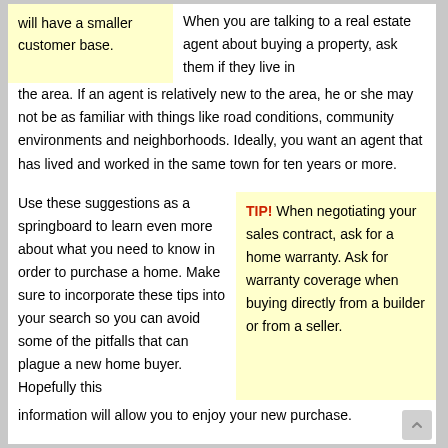will have a smaller customer base.
When you are talking to a real estate agent about buying a property, ask them if they live in the area. If an agent is relatively new to the area, he or she may not be as familiar with things like road conditions, community environments and neighborhoods. Ideally, you want an agent that has lived and worked in the same town for ten years or more.
Use these suggestions as a springboard to learn even more about what you need to know in order to purchase a home. Make sure to incorporate these tips into your search so you can avoid some of the pitfalls that can plague a new home buyer. Hopefully this information will allow you to enjoy your new purchase.
TIP! When negotiating your sales contract, ask for a home warranty. Ask for warranty coverage when buying directly from a builder or from a seller.